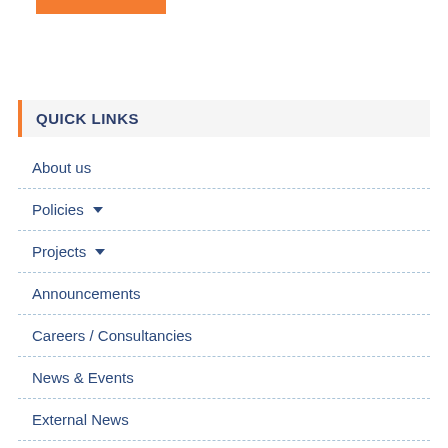[Figure (other): Orange decorative bar at top of page]
QUICK LINKS
About us
Policies
Projects
Announcements
Careers / Consultancies
News & Events
External News
MOE Contacts